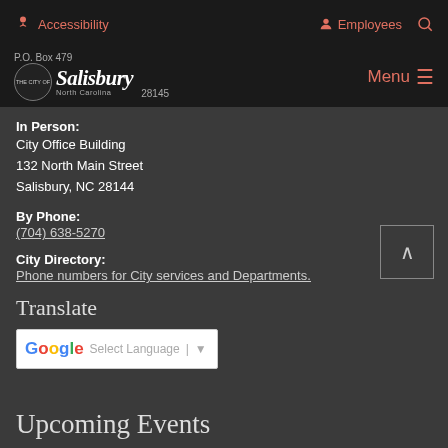Accessibility   Employees   [search icon]
[Figure (logo): City of Salisbury, North Carolina logo with circular emblem and italic serif wordmark]
P.O. Box 479
Salisbury, NC 28145
Menu
In Person:
City Office Building
132 North Main Street
Salisbury, NC 28144
By Phone:
(704) 638-5270
City Directory:
Phone numbers for City services and Departments.
Translate
[Figure (screenshot): Google Translate widget with G logo, Select Language placeholder, pipe separator and dropdown arrow]
Upcoming Events